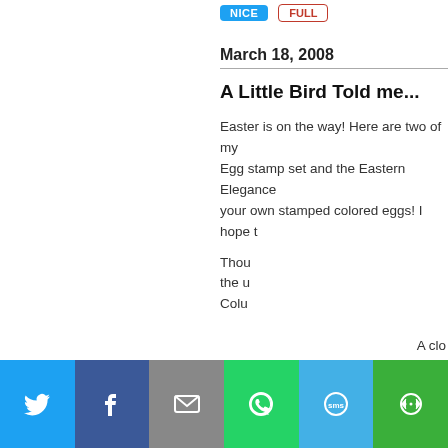NICE | FULL
March 18, 2008
A Little Bird Told me...
Easter is on the way! Here are two of my... Egg stamp set and the Eastern Elegance... your own stamped colored eggs! I hope t...
Thou... the u... Colu...
A clo...
[Figure (screenshot): Social sharing bar with Twitter, Facebook, Email, WhatsApp, SMS, and More buttons]